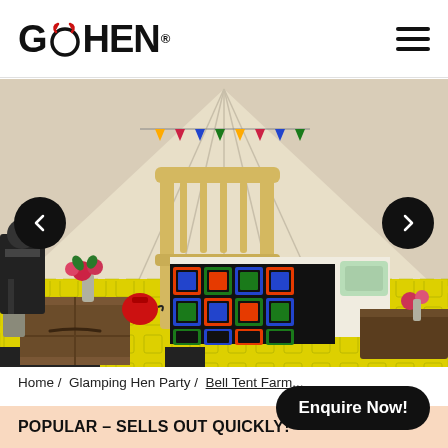GO HEN (logo) | hamburger menu
[Figure (photo): Interior of a glamping bell tent showing a white wooden bed frame with a colorful crocheted blanket, wooden crate side tables, flowers in a vase, a red kettle, and a bright yellow patterned rug on the floor. The tent canvas walls are visible in the background.]
Home / Glamping Hen Party / Bell Tent Farm...
Enquire Now!
POPULAR – SELLS OUT QUICKLY!